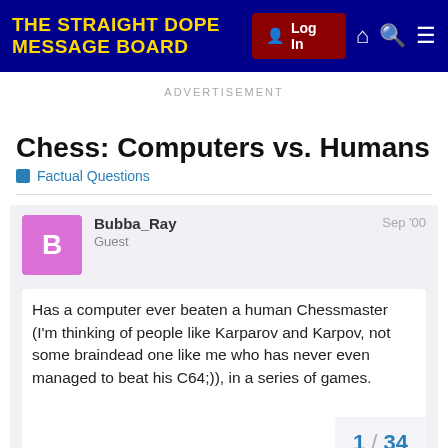THE STRAIGHT DOPE MESSAGE BOARD
ADVERTISEMENT
Chess: Computers vs. Humans
Factual Questions
Bubba_Ray
Guest
Sep '00
Has a computer ever beaten a human Chessmaster (I'm thinking of people like Karparov and Karpov, not some braindead one like me who has never even managed to beat his C64;)), in a series of games.
1 / 34